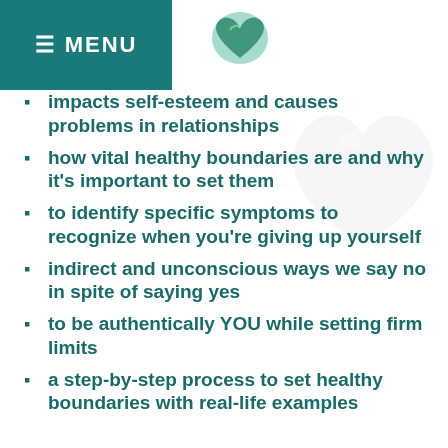≡ MENU
[Figure (logo): Green heart-shaped logo icon]
impacts self-esteem and causes problems in relationships
how vital healthy boundaries are and why it's important to set them
to identify specific symptoms to recognize when you're giving up yourself
indirect and unconscious ways we say no in spite of saying yes
to be authentically YOU while setting firm limits
a step-by-step process to set healthy boundaries with real-life examples